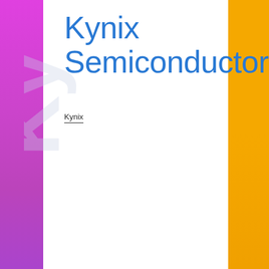[Figure (logo): Kynix Semiconductor logo page with magenta left sidebar, orange right sidebar, white center area, large watermark 'Kynix' text rotated vertically in light gray, and blue title text 'Kynix Semiconductor']
Kynix Semiconductor
Kynix